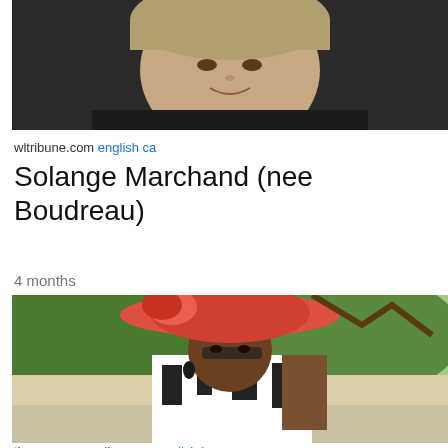[Figure (photo): Close-up photo of a person with short gray-blonde hair, wearing a dark jacket, smiling]
wltribune.com english ca
Solange Marchand (nee Boudreau)
Full Article
4 months
[Figure (photo): Woman wearing a large coral/red hat with floral decoration, black-framed glasses, and a black-and-white patterned dress, standing outdoors with tropical plants in the background]
thenassauguardian.com english bs